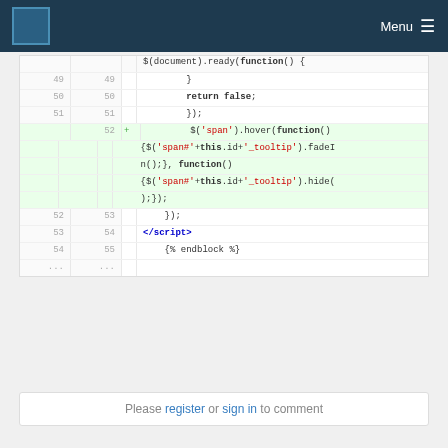Menu
[Figure (screenshot): Code diff viewer showing lines 49-55 of a JavaScript/HTML file with syntax highlighting. Line 52 is marked as added (green background) containing jQuery hover code with span selectors.]
Please register or sign in to comment